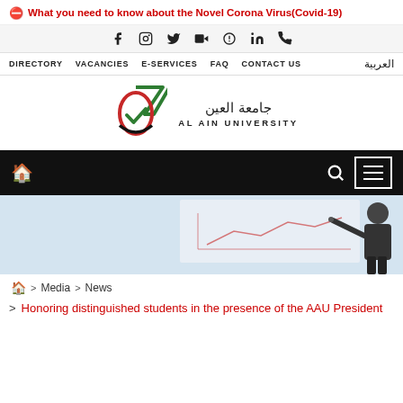⓵ What you need to know about the Novel Corona Virus(Covid-19)
[Figure (other): Social media icons row: Facebook, Instagram, Twitter, YouTube, Snapchat, LinkedIn, Phone]
DIRECTORY   VACANCIES   E-SERVICES   FAQ   CONTACT US   العربية
[Figure (logo): Al Ain University logo with Arabic text جامعة العين and English text AL AIN UNIVERSITY]
[Figure (other): Black navigation bar with home icon, search icon, and hamburger menu button]
[Figure (photo): Hero image showing a person pointing at a whiteboard with charts/graphs]
🏠 > Media > News
Honoring distinguished students in the presence of the AAU President